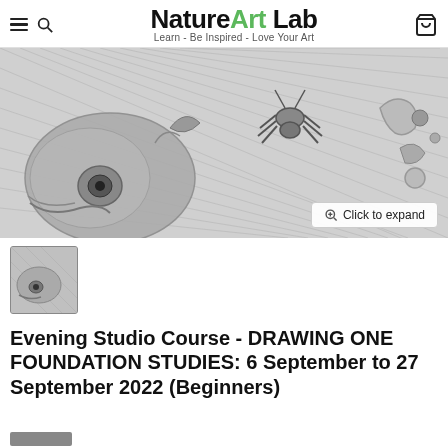NatureArt Lab — Learn - Be Inspired - Love Your Art
[Figure (illustration): Pencil sketch of a fish skull and a spider/insect on a diagonal textured background, with a 'Click to expand' button overlay in the bottom right.]
[Figure (photo): Thumbnail image of the same pencil sketch drawing showing a fish skull.]
Evening Studio Course - DRAWING ONE FOUNDATION STUDIES: 6 September to 27 September 2022 (Beginners)